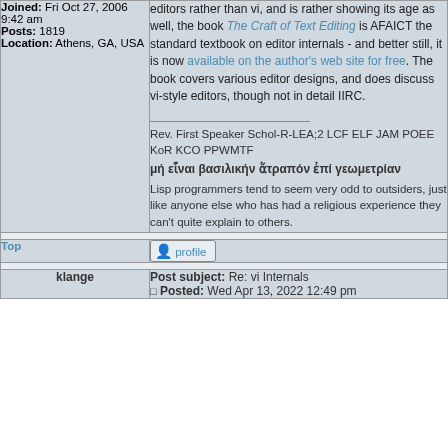Joined: Fri Oct 27, 2006 9:42 am
Posts: 1819
Location: Athens, GA, USA
editors rather than vi, and is rather showing its age as well, the book The Craft of Text Editing is AFAICT the standard textbook on editor internals - and better still, it is now available on the author's web site for free. The book covers various editor designs, and does discuss vi-style editors, though not in detail IIRC.
Rev. First Speaker Schol-R-LEA;2 LCF ELF JAM POEE KoR KCO PPWMTF
μή εἶναι βασιλικήν ἄτραπόν ἐπί γεωμετρίαν
Lisp programmers tend to seem very odd to outsiders, just like anyone else who has had a religious experience they can't quite explain to others.
Top
profile
klange
Post subject: Re: vi Internals
Posted: Wed Apr 13, 2022 12:49 pm